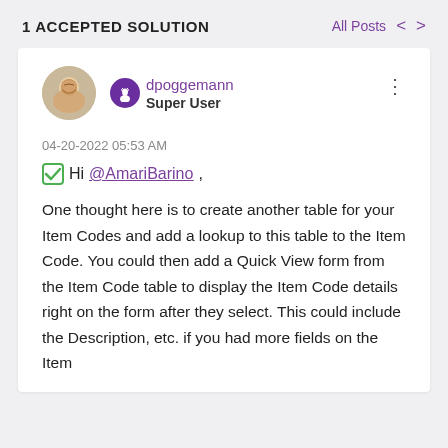1 ACCEPTED SOLUTION
All Posts
[Figure (photo): User avatar photo of dpoggemann, a man smiling, circular crop]
dpoggemann
Super User
04-20-2022 05:53 AM
✅ Hi @AmariBarino ,
One thought here is to create another table for your Item Codes and add a lookup to this table to the Item Code.  You could then add a Quick View form from the Item Code table to display the Item Code details right on the form after they select.  This could include the Description, etc. if you had more fields on the Item